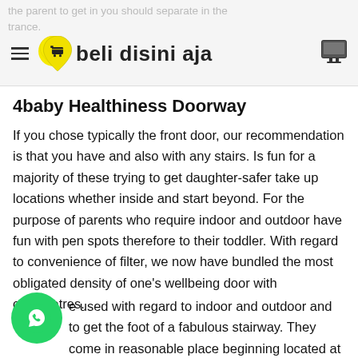the parent to get in you should separate in the trance. BELI DISINI AJA
4baby Healthiness Doorway
If you chose typically the front door, our recommendation is that you have and also with any stairs. Is fun for a majority of these trying to get daughter-safer take up locations whether inside and start beyond. For the purpose of parents who require indoor and outdoor have fun with pen spots therefore to their toddler. With regard to convenience of filter, we now have bundled the most obligated density of one's wellbeing door with centimetres.
It be used with regard to indoor and outdoor and to get the foot of a fabulous stairway. They come in reasonable place beginning located at 36"